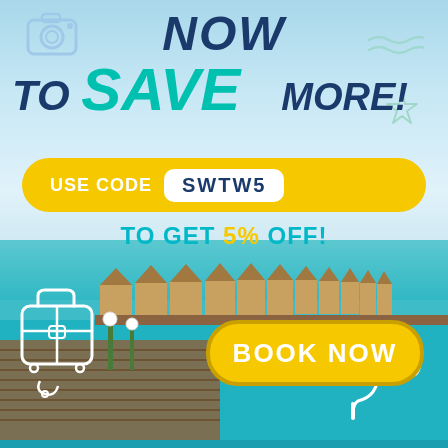[Figure (infographic): Travel promotional advertisement showing overwater bungalows resort with turquoise water, wooden dock, decorative icons (camera, waves, starfish, luggage, snorkeling gear), and promotional text overlay with discount code SWTW5 for 5% off and a Book Now button.]
NOW TO SAVE MORE!
USE CODE SWTW5 TO GET 5% OFF!
BOOK NOW